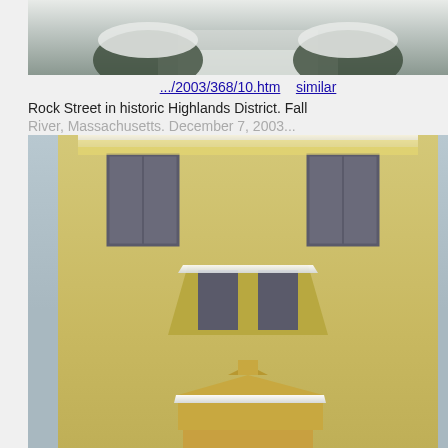[Figure (photo): Partial view of a snow-covered street scene, top portion cropped]
.../2003/368/10.htm    similar
Rock Street in historic Highlands District. Fall River, Massachusetts. December 7, 2003...
[Figure (photo): Victorian house covered in snow with ornate entrance portico, yellow siding, bay windows]
.../2003/368/20.htm    similar
Area of Rock Street in historic Highlands District. Fall River, Massachusetts. December...
[Figure (photo): Partial view of another snow-covered building with bare trees, cropped at bottom]